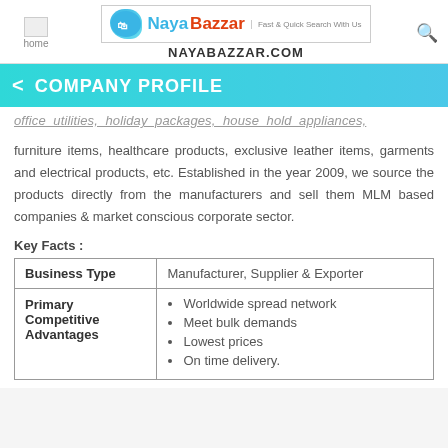home | NAYABAZZAR.COM
COMPANY PROFILE
office utilities, holiday packages, house hold appliances, furniture items, healthcare products, exclusive leather items, garments and electrical products, etc. Established in the year 2009, we source the products directly from the manufacturers and sell them MLM based companies & market conscious corporate sector.
Key Facts :
| Business Type |  |
| --- | --- |
| Business Type | Manufacturer, Supplier & Exporter |
| Primary Competitive Advantages | Worldwide spread network
Meet bulk demands
Lowest prices
On time delivery. |